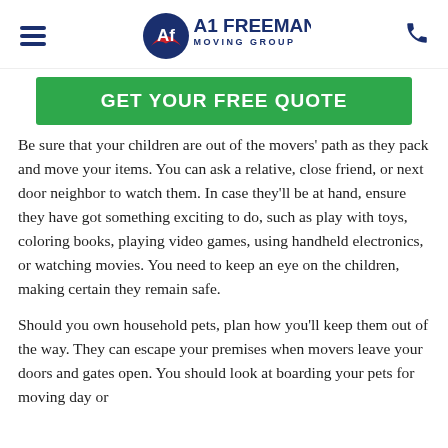A1 Freeman Moving Group — navigation header with hamburger menu and phone icon
GET YOUR FREE QUOTE
Be sure that your children are out of the movers' path as they pack and move your items. You can ask a relative, close friend, or next door neighbor to watch them. In case they'll be at hand, ensure they have got something exciting to do, such as play with toys, coloring books, playing video games, using handheld electronics, or watching movies. You need to keep an eye on the children, making certain they remain safe.
Should you own household pets, plan how you'll keep them out of the way. They can escape your premises when movers leave your doors and gates open. You should look at boarding your pets for moving day or